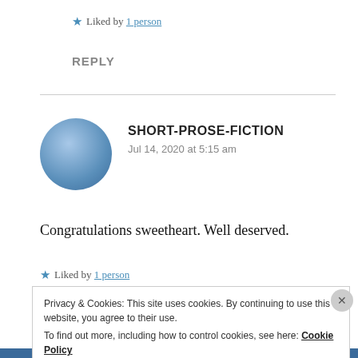★ Liked by 1 person
REPLY
SHORT-PROSE-FICTION
Jul 14, 2020 at 5:15 am
Congratulations sweetheart. Well deserved.
★ Liked by 1 person
Privacy & Cookies: This site uses cookies. By continuing to use this website, you agree to their use.
To find out more, including how to control cookies, see here: Cookie Policy
Close and accept